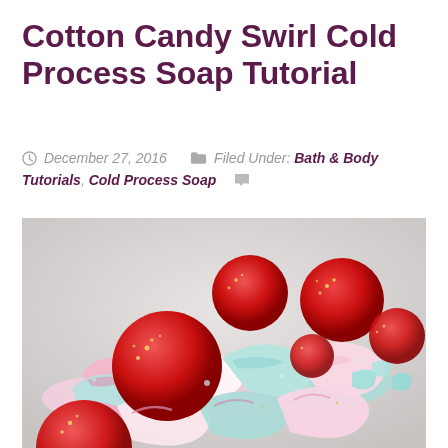Cotton Candy Swirl Cold Process Soap Tutorial
December 27, 2016   Filed Under: Bath & Body Tutorials, Cold Process Soap
[Figure (photo): Close-up photo of cotton candy swirl cold process soap bars topped with red sparkly bath bomb spheres and decorated with pink, teal, and white swirled soap chunks with iridescent glitter accents]